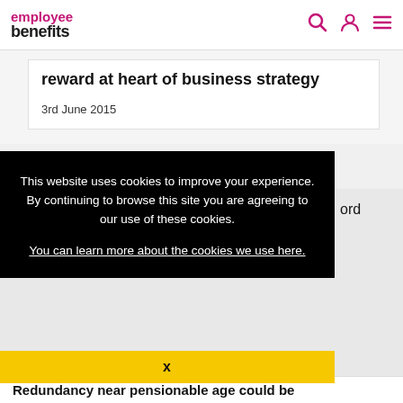employee benefits
reward at heart of business strategy
3rd June 2015
This website uses cookies to improve your experience. By continuing to browse this site you are agreeing to our use of these cookies.
You can learn more about the cookies we use here.
x
Redundancy near pensionable age could be